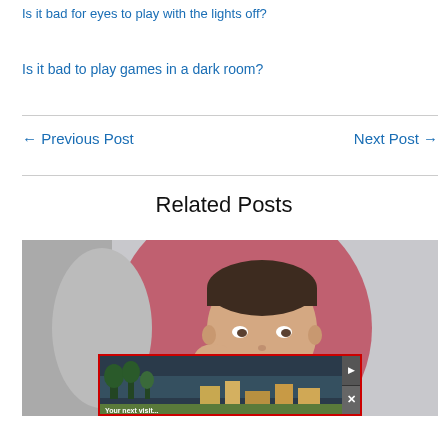Is it bad for eyes to play with the lights off?
Is it bad to play games in a dark room?
← Previous Post
Next Post →
Related Posts
[Figure (photo): A bored-looking man resting his cheek on his hand against a pink/red circular background]